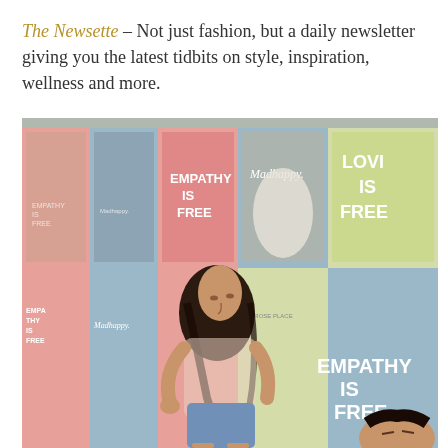The Newsette – Not just fashion, but a daily newsletter giving you the latest tidbits on style, inspiration, wellness and more.
[Figure (photo): A young woman with long dark hair poses in front of a large colorful wall covered in Madhappy brand posters. The wall features alternating pastel pink, blue, and green panels with text reading 'EMPATHY IS FREE' and 'Madhappy.' The woman is wearing a sheer white top and denim shorts.]